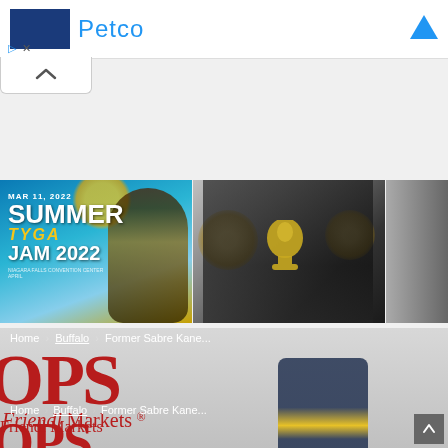[Figure (screenshot): Ad banner showing Petco logo and brand name with blue diamond icon]
[Figure (screenshot): Collapse/chevron button UI element]
[Figure (screenshot): News card: Summer Jam 2022 Tyga concert promo image]
TYGA ANNOUNCES BUFFALO CONCERT DATE
[Figure (photo): T-Pain holding Grammy trophy at CBS event]
T-PAIN MAKING CONCERT RETURN TO THE BUFFALO WATERFRONT
BUFFALO GY MARINE, AR PEACEFULLY STUDENT MA
[Figure (photo): Tops Friendly Markets storefront with person in Buffalo Sabres gear in foreground. Breadcrumb: Home > Buffalo > Former Sabre Kane...]